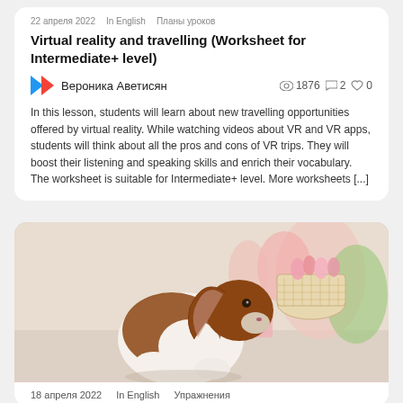22 апреля 2022   In English   Планы уроков
Virtual reality and travelling (Worksheet for Intermediate+ level)
Вероника Аветисян   👁 1876   💬 2   ♡ 0
In this lesson, students will learn about new travelling opportunities offered by virtual reality. While watching videos about VR and VR apps, students will think about all the pros and cons of VR trips. They will boost their listening and speaking skills and enrich their vocabulary. The worksheet is suitable for Intermediate+ level. More worksheets [...]
[Figure (photo): A brown and white lop-eared rabbit sitting next to a white wicker basket with pink tulips and a pink candle in a soft light background]
18 апреля 2022   In English   Упражнения